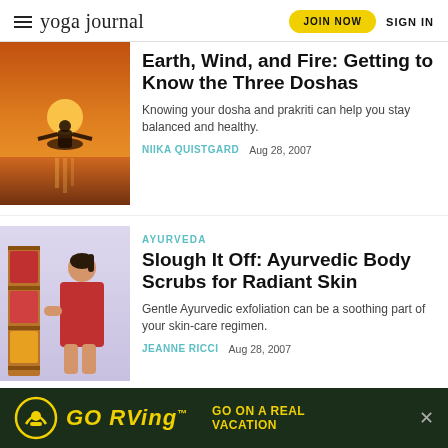yoga journal | JOIN NOW | SIGN IN
Earth, Wind, and Fire: Getting to Know the Three Doshas
Knowing your dosha and prakriti can help you stay balanced and healthy.
NIIKA QUISTGARD    Aug 28, 2007
AYURVEDA
Slough It Off: Ayurvedic Body Scrubs for Radiant Skin
Gentle Ayurvedic exfoliation can be a soothing part of your skin-care regimen.
JEANNE RICCI    Aug 28, 2007
[Figure (photo): Advertisement banner: GO RVing on dark green background with yellow text and RV logo]